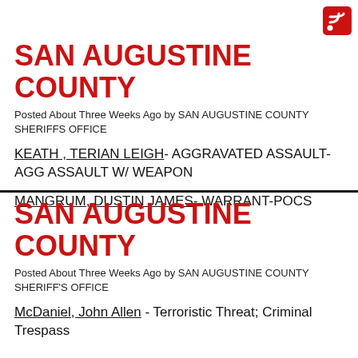[Figure (logo): RSS feed icon in red and white in top right corner]
SAN AUGUSTINE COUNTY
Posted About Three Weeks Ago by SAN AUGUSTINE COUNTY SHERIFFS OFFICE
KEATH , TERIAN LEIGH- AGGRAVATED ASSAULT-AGG ASSAULT W/ WEAPON
MANGRUM, DUSTIN JAMES- WARRANT-POCS
SAN AUGUSTINE COUNTY
Posted About Three Weeks Ago by SAN AUGUSTINE COUNTY SHERIFF'S OFFICE
McDaniel, John Allen - Terroristic Threat; Criminal Trespass